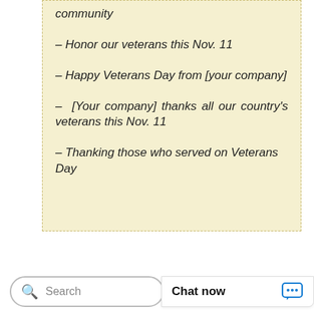community
– Honor our veterans this Nov. 11
– Happy Veterans Day from [your company]
– [Your company] thanks all our country's veterans this Nov. 11
– Thanking those who served on Veterans Day